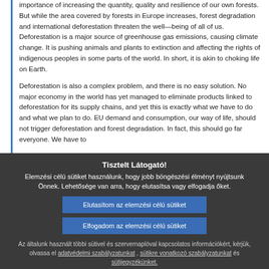importance of increasing the quantity, quality and resilience of our own forests. But while the area covered by forests in Europe increases, forest degradation and international deforestation threaten the well—being of all of us. Deforestation is a major source of greenhouse gas emissions, causing climate change. It is pushing animals and plants to extinction and affecting the rights of indigenous peoples in some parts of the world. In short, it is akin to choking life on Earth.
Deforestation is also a complex problem, and there is no easy solution. No major economy in the world has yet managed to eliminate products linked to deforestation for its supply chains, and yet this is exactly what we have to do and what we plan to do. EU demand and consumption, our way of life, should not trigger deforestation and forest degradation. In fact, this should go far everyone. We have to
Tisztelt Látogató!
Elemzési célú sütiket használunk, hogy jobb böngészési élményt nyújtsunk Önnek. Lehetősége van arra, hogy elutasítsa vagy elfogadja őket.
Elutasítom az elemzési célú sütiket
Elfogadom az elemzési célú sütiket
Az általunk használt többi sütivel és szervernaplóval kapcsolatos információkért, kérjük, olvassa el adatvédelmi szabályzatunkat , sütikre vonatkozó szabályzatunkat és sütijegyzékünket.